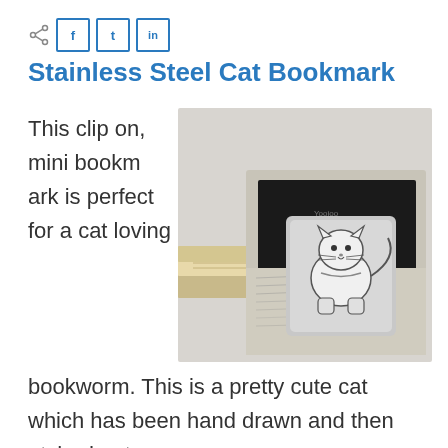share | f | t | in
Stainless Steel Cat Bookmark
This clip on, mini bookmark is perfect for a cat loving bookworm. This is a pretty cute cat which has been hand drawn and then etched onto
[Figure (photo): A stainless steel cat bookmark in a small decorative box lined with newsprint, placed on top of stacked books. The bookmark shows an etched cartoon cat design.]